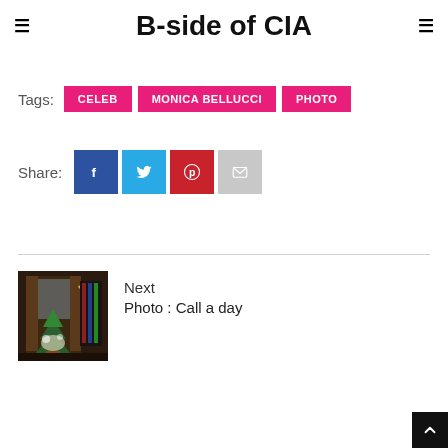B-side of CIA
Tags: CELEB  MONICA BELLUCCI  PHOTO
Share:
Next
Photo : Call a day
[Figure (photo): Thumbnail image of a room with a decorated Christmas tree and flowers, dark interior]